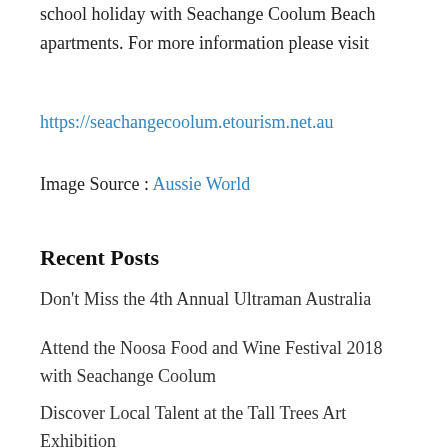school holiday with Seachange Coolum Beach apartments. For more information please visit
https://seachangecoolum.etourism.net.au
Image Source : Aussie World
Recent Posts
Don't Miss the 4th Annual Ultraman Australia
Attend the Noosa Food and Wine Festival 2018 with Seachange Coolum
Discover Local Talent at the Tall Trees Art Exhibition